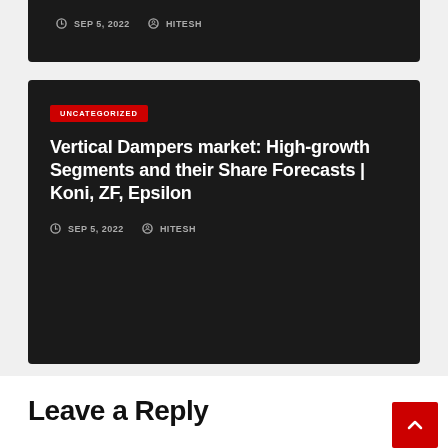SEP 5, 2022  HITESH
UNCATEGORIZED
Vertical Dampers market: High-growth Segments and their Share Forecasts | Koni, ZF, Epsilon
SEP 5, 2022  HITESH
Leave a Reply